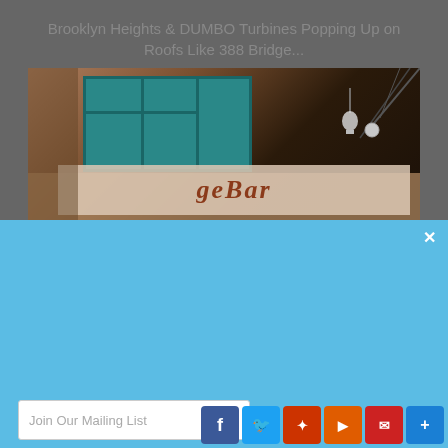Brooklyn Heights & DUMBO Turbines Popping Up on Roofs Like 388 Bridge...
[Figure (photo): Photo of a building exterior with teal/green windows and a sign reading 'geBar' or similar bar sign, dark atmospheric lighting with hanging light bulb]
DAILY TOP BROOKLYN NEWS
News for those who live, work and play in Brooklyn and beyond
Join Our Mailing List